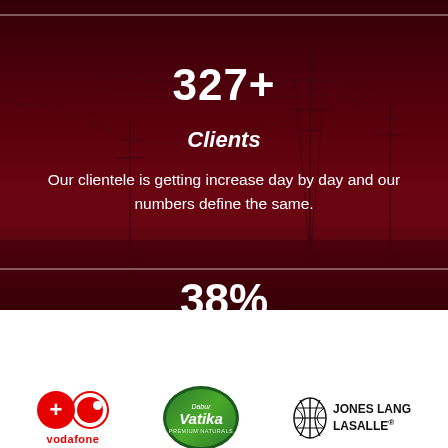327+
Clients
Our clientele is getting increase day by day and our numbers define the same.
38%
[Figure (logo): Vodafone logo with plus circle and red Vodafone symbol, text 'vodafone']
[Figure (logo): Dabur Vatika Premium Naturals green oval logo]
[Figure (logo): Jones Lang LaSalle logo with striped globe icon and text JONES LANG LASALLE with registered mark]